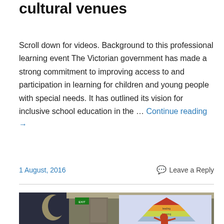cultural venues
Scroll down for videos. Background to this professional learning event The Victorian government has made a strong commitment to improving access to and participation in learning for children and young people with special needs. It has outlined its vision for inclusive school education in the … Continue reading →
1 August, 2016
Leave a Reply
[Figure (photo): A presenter standing in front of a projection screen showing a pyramid/hierarchy diagram with colored tiers, in a conference room setting.]